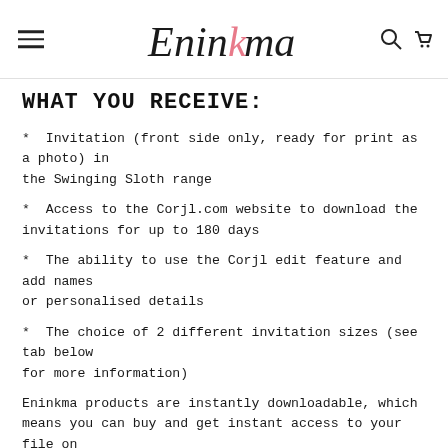Eninkma (logo with navigation icons)
WHAT YOU RECEIVE:
* Invitation (front side only, ready for print as a photo) in the Swinging Sloth range
* Access to the Corjl.com website to download the invitations for up to 180 days
* The ability to use the Corjl edit feature and add names or personalised details
* The choice of 2 different invitation sizes (see tab below for more information)
Eninkma products are instantly downloadable, which means you can buy and get instant access to your file on